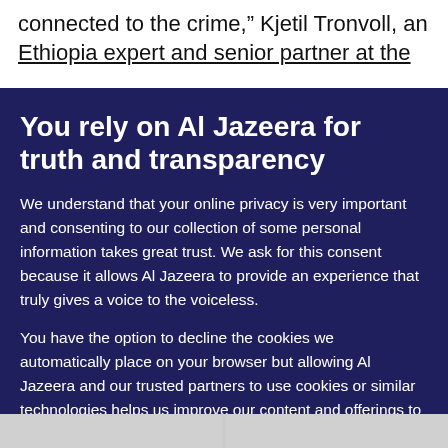connected to the crime,” Kjetil Tronvoll, an Ethiopia expert and senior partner at the
You rely on Al Jazeera for truth and transparency
We understand that your online privacy is very important and consenting to our collection of some personal information takes great trust. We ask for this consent because it allows Al Jazeera to provide an experience that truly gives a voice to the voiceless.
You have the option to decline the cookies we automatically place on your browser but allowing Al Jazeera and our trusted partners to use cookies or similar technologies helps us improve our content and offerings to you. You can change your privacy preferences at any time by selecting ‘Cookie preferences’ at the bottom of your screen. To learn more, please view our Cookie Policy.